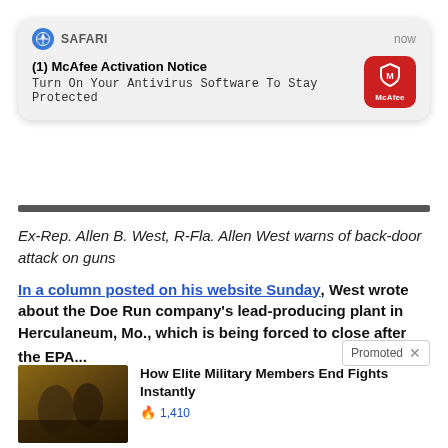[Figure (screenshot): iOS Safari browser notification popup: '(1) McAfee Activation Notice - Turn On Your Antivirus Software To Stay Protected' with McAfee red icon, timestamp 'now']
Ex-Rep. Allen B. West, R-Fla. Allen West warns of back-door attack on guns
In a column posted on his website Sunday, West wrote about the Doe Run company's lead-producing plant in Herculaneum, Mo., which is being forced to close after the EPA...
Promoted
[Figure (photo): Thumbnail image of two people fighting in a ruined building setting]
How Elite Military Members End Fights Instantly
🔥 1,410
[Figure (photo): Thumbnail image of biological/medical close-up with play button overlay]
What They Didn't Want You Knowing About Metformin
🔥 186,053